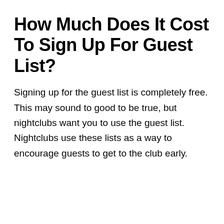How Much Does It Cost To Sign Up For Guest List?
Signing up for the guest list is completely free. This may sound to good to be true, but nightclubs want you to use the guest list. Nightclubs use these lists as a way to encourage guests to get to the club early.